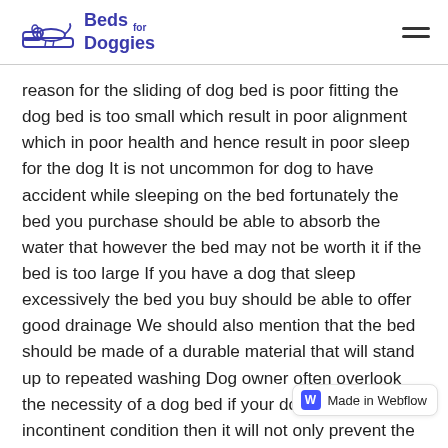Beds for Doggies
reason for the sliding of dog bed is poor fitting the dog bed is too small which result in poor alignment which in poor health and hence result in poor sleep for the dog It is not uncommon for dog to have accident while sleeping on the bed fortunately the bed you purchase should be able to absorb the water that however the bed may not be worth it if the bed is too large If you have a dog that sleep excessively the bed you buy should be able to offer good drainage We should also mention that the bed should be made of a durable material that will stand up to repeated washing Dog owner often overlook the necessity of a dog bed if your dog is sleeping in incontinent condition then it will not only prevent the bed from failing to keep its shapes but also protect your dog from e